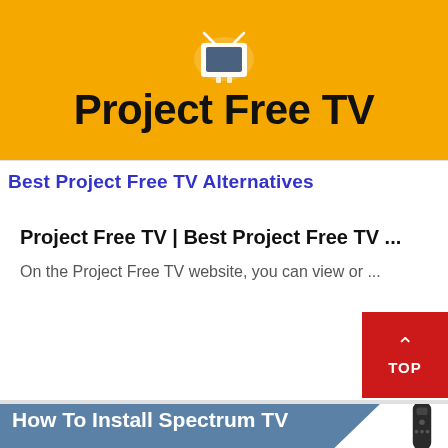[Figure (illustration): Yellow banner with a white TV icon at top and bold text 'Project Free TV' below on a golden/amber background.]
Best Project Free TV Alternatives
Project Free TV | Best Project Free TV ...
On the Project Free TV website, you can view or ...
[Figure (illustration): Blue diagonal banner with white bold text 'How To Install Spectrum TV' and a dark TV remote control on the right side.]